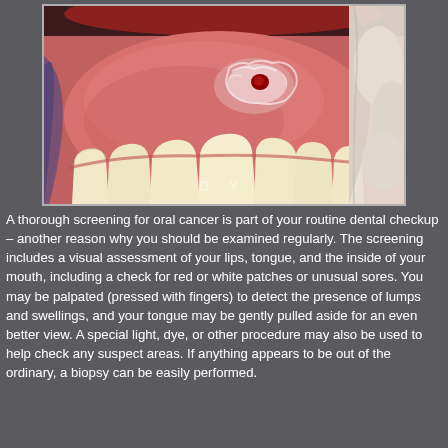[Figure (photo): Clinical photograph showing an open mouth with a lesion on the tongue — a red ulcerated area with irregular white margins visible on the dorsal surface of the tongue, held aside by gloved fingers. Lower teeth are visible in the foreground.]
A thorough screening for oral cancer is part of your routine dental checkup – another reason why you should be examined regularly. The screening includes a visual assessment of your lips, tongue, and the inside of your mouth, including a check for red or white patches or unusual sores. You may be palpated (pressed with fingers) to detect the presence of lumps and swellings, and your tongue may be gently pulled aside for an even better view. A special light, dye, or other procedure may also be used to help check any suspect areas. If anything appears to be out of the ordinary, a biopsy can be easily performed.